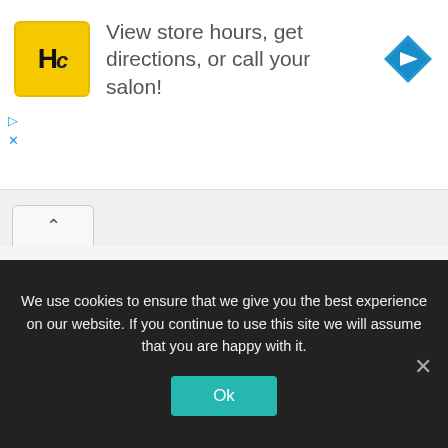[Figure (logo): HC (Hair Club) yellow square logo with HC letters in black]
View store hours, get directions, or call your salon!
[Figure (illustration): Blue diamond navigation arrow icon pointing right]
▷
✕
[Figure (screenshot): Tab bar with up chevron active tab on grey background]
Get the latest jobs in your area delivered straight to your
We use cookies to ensure that we give you the best experience on our website. If you continue to use this site we will assume that you are happy with it.
Ok